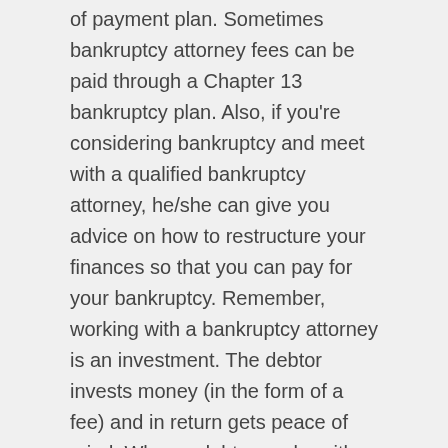of payment plan. Sometimes bankruptcy attorney fees can be paid through a Chapter 13 bankruptcy plan. Also, if you're considering bankruptcy and meet with a qualified bankruptcy attorney, he/she can give you advice on how to restructure your finances so that you can pay for your bankruptcy. Remember, working with a bankruptcy attorney is an investment. The debtor invests money (in the form of a fee) and in return gets peace of mind. When a debtor works with a professional attorney to file bankruptcy, he/she can rest assured that the professional will understand the ins/outs of the law and will file the appropriate paperwork within the appropriate time. Also, the bankruptcy attorney can fight any creditor or trustee challenges that pop up during the bankruptcy case, freeing the debtor to focus on picking up the pieces of their financial lives without needing to learn the details of bankruptcy law.